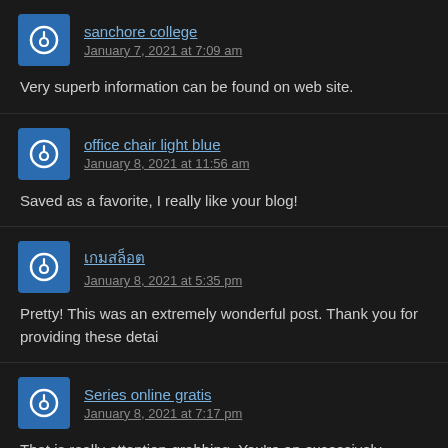sanchore college
January 7, 2021 at 7:09 am
Very superb information can be found on web site.
office chair light blue
January 8, 2021 at 11:56 am
Saved as a favorite, I really like your blog!
เกมสล็อต
 January 8, 2021 at 5:35 pm
Pretty! This was an extremely wonderful post. Thank you for providing these detai
Series online gratis
January 8, 2021 at 7:17 pm
That is really attention-grabbing, You're an excessively professional blogger. I have feed and look ahead to in quest of extra of your great post. Also, I have shared yo